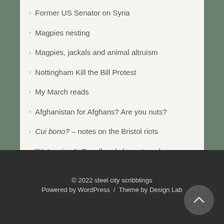Former US Senator on Syria
Magpies nesting
Magpies, jackals and animal altruism
Nottingham Kill the Bill Protest
My March reads
Afghanistan for Afghans? Are you nuts?
Cui bono? – notes on the Bristol riots
"Hate crime", Orwell and class struggle
Clapham Common: policing protest
© 2022 steel city scribblings
Powered by WordPress  /  Theme by Design Lab